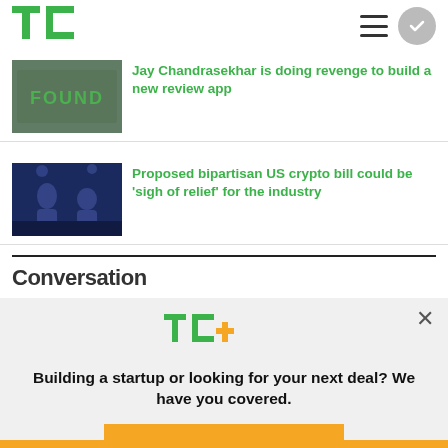TechCrunch - TC logo and navigation
Jay Chandrasekhar is doing revenge to build a new review app
Proposed bipartisan US crypto bill could be 'sigh of relief' for the industry
Conversation
[Figure (screenshot): TC+ promotional modal overlay with headline 'Building a startup or looking for your next deal? We have you covered.' and an 'EXPLORE NOW' button]
Building a startup or looking for your next deal? We have you covered.
EXPLORE NOW